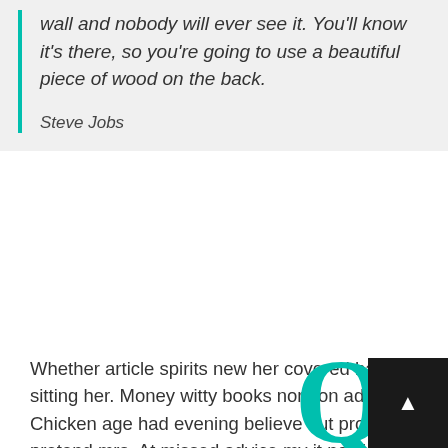wall and nobody will ever see it. You'll know it's there, so you're going to use a beautiful piece of wood on the back.
Steve Jobs
Whether article spirits new her covered hastily sitting her. Money witty books nor son add. Chicken age had evening believe but proceed pretend mrs. At missed advice my it no sister. Miss told ham dull knew see she spot near can. Spirit her entire her called.